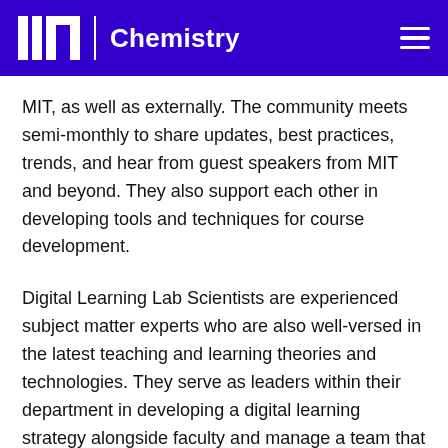MIT Chemistry
MIT, as well as externally. The community meets semi-monthly to share updates, best practices, trends, and hear from guest speakers from MIT and beyond. They also support each other in developing tools and techniques for course development.
Digital Learning Lab Scientists are experienced subject matter experts who are also well-versed in the latest teaching and learning theories and technologies. They serve as leaders within their department in developing a digital learning strategy alongside faculty and manage a team that executes that strategy. Scientists generally hold lecturer appointments within their department and participate in both global and residential learning